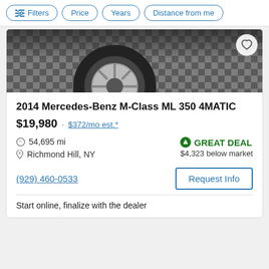Filters · Price · Years · Distance from me
[Figure (photo): Car wheel/tire on checkered garage floor background]
2014 Mercedes-Benz M-Class ML 350 4MATIC
$19,980 · $372/mo est.*
54,695 mi
Richmond Hill, NY
GREAT DEAL $4,323 below market
(929) 460-0533
Request Info
Start online, finalize with the dealer